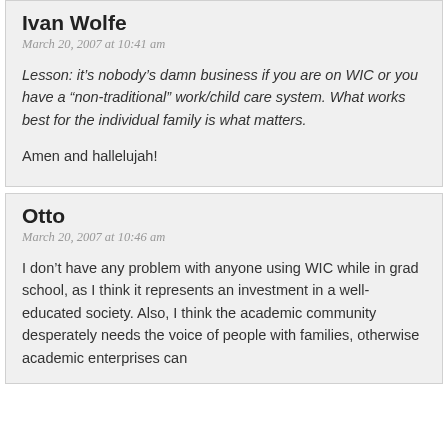Ivan Wolfe
March 20, 2007 at 10:41 am
Lesson: itâs nobodyâs damn business if you are on WIC or you have a ânon-traditionalâ work/child care system. What works best for the individual family is what matters.
Amen and hallelujah!
Otto
March 20, 2007 at 10:46 am
I don’t have any problem with anyone using WIC while in grad school, as I think it represents an investment in a well-educated society. Also, I think the academic community desperately needs the voice of people with families, otherwise academic enterprises can